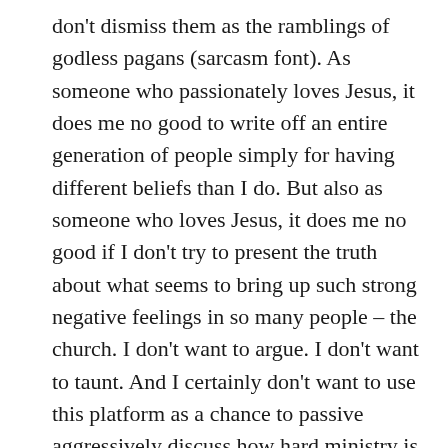don't dismiss them as the ramblings of godless pagans (sarcasm font). As someone who passionately loves Jesus, it does me no good to write off an entire generation of people simply for having different beliefs than I do. But also as someone who loves Jesus, it does me no good if I don't try to present the truth about what seems to bring up such strong negative feelings in so many people – the church. I don't want to argue. I don't want to taunt. And I certainly don't want to use this platform as a chance to passive aggressively discuss how hard ministry is – I'll openly tell anyone that, haha! I just want to take this opportunity to do my part to dispel some rumors and myths about churches and pastors, to the best of my